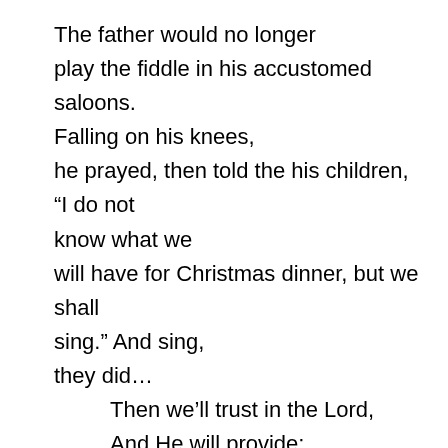The father would no longer play the fiddle in his accustomed saloons. Falling on his knees, he prayed, then told the his children, “I do not know what we will have for Christmas dinner, but we shall sing.” And sing, they did…
Then we’ll trust in the Lord,
And He will provide;
Yes, we’ll trust in the Lord,
And He will provide.
A knock sounded on the side of the van. “It is I,” said Mr. Sykes, the town missionary. “I have come to tell you that the